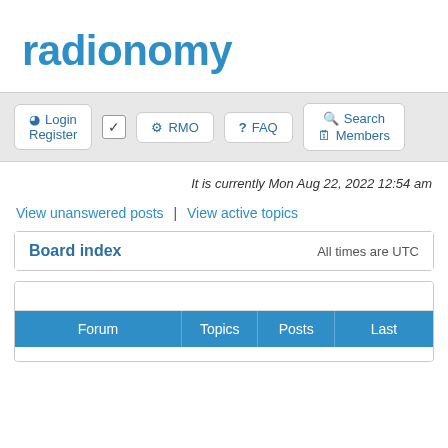radionomy
Login  Register  RMO  FAQ  Search  Members
It is currently Mon Aug 22, 2022 12:54 am
View unanswered posts | View active topics
| Board index | All times are UTC |
| --- | --- |
| Forum | Topics | Posts | Last |
| --- | --- | --- | --- |